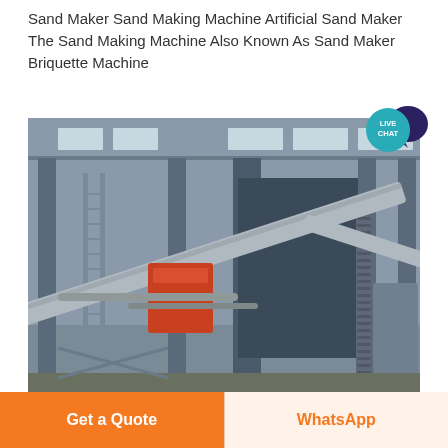Sand Maker Sand Making Machine Artificial Sand Maker The Sand Making Machine Also Known As Sand Maker Briquette Machine
[Figure (photo): Aerial view of a large industrial sand making facility with steel structures, conveyor belts, machinery, and large cylindrical/rectangular processing units inside a warehouse-like structure.]
Sand maker Sand making machine Sand making
Get a Quote
WhatsApp